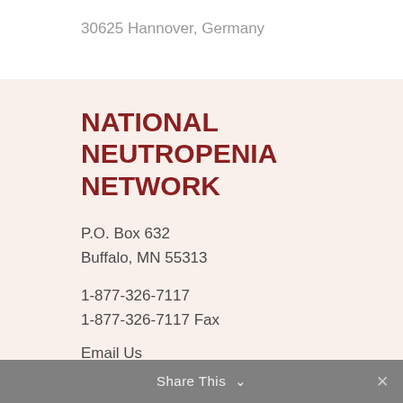30625 Hannover, Germany
NATIONAL NEUTROPENIA NETWORK
P.O. Box 632
Buffalo, MN 55313
1-877-326-7117
1-877-326-7117 Fax
Email Us
Share This  ✓  ✕